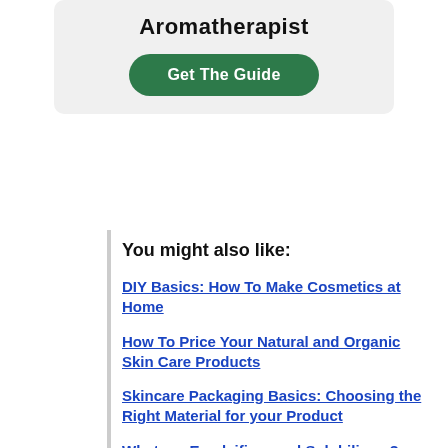Aromatherapist
Get The Guide
You might also like:
DIY Basics: How To Make Cosmetics at Home
How To Price Your Natural and Organic Skin Care Products
Skincare Packaging Basics: Choosing the Right Material for your Product
What are Emulsifiers and Solubilizers?
Carrier Oils – Overview and Substitution Guide